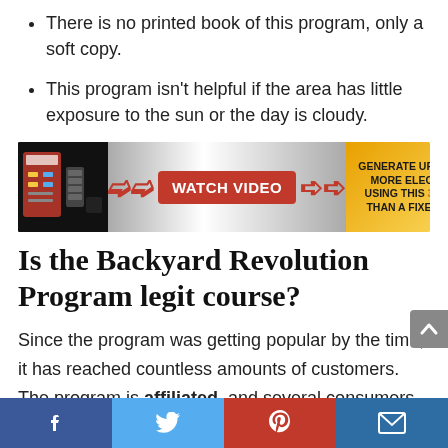There is no printed book of this program, only a soft copy.
This program isn't helpful if the area has little exposure to the sun or the day is cloudy.
[Figure (infographic): Banner ad showing 'WATCH VIDEO' button with red chevron arrows, and text 'GENERATE UP TO 2000% MORE ELECTRICITY USING THIS 3D ARRAY THAN A FIXED ARRAY' on an orange/gold gradient background with electronics image on left.]
Is the Backyard Revolution Program legit course?
Since the program was getting popular by the time, it has reached countless amounts of customers. The program is affiliated, and several consumers have shared their opinions online.